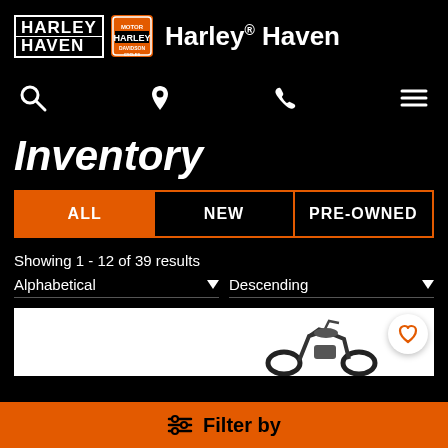[Figure (logo): Harley Haven logo with Harley-Davidson badge emblem]
Harley® Haven
[Figure (infographic): Navigation icons: search, location pin, phone, hamburger menu]
Inventory
ALL
NEW
PRE-OWNED
Showing 1 - 12 of 39 results
Alphabetical
Descending
[Figure (photo): Partial view of a Harley-Davidson motorcycle on white background]
Filter by